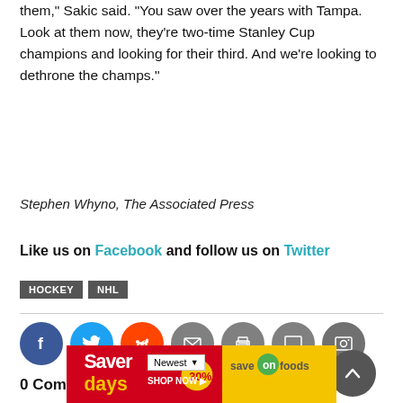them," Sakic said. "You saw over the years with Tampa. Look at them now, they're two-time Stanley Cup champions and looking for their third. And we're looking to dethrone the champs."
Stephen Whyno, The Associated Press
Like us on Facebook and follow us on Twitter
HOCKEY
NHL
[Figure (infographic): Social sharing icons: Facebook (blue), Twitter (light blue), Reddit (orange), Email (gray), Print (gray), Comment (gray), Photo (dark gray)]
0 Comments
[Figure (infographic): Save On Foods advertisement banner with 'Saver days' text on red background and 'save on foods' logo on yellow background. Includes 'Sort by Newest' dropdown and 'SHOP NOW' button.]
[Figure (infographic): Scroll to top button (dark gray circle with upward chevron arrow)]